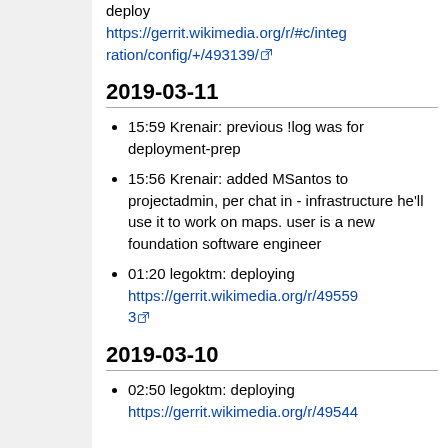deploy https://gerrit.wikimedia.org/r/#c/integration/config/+/493139/
2019-03-11
15:59 Krenair: previous !log was for deployment-prep
15:56 Krenair: added MSantos to projectadmin, per chat in - infrastructure he'll use it to work on maps. user is a new foundation software engineer
01:20 legoktm: deploying https://gerrit.wikimedia.org/r/495593
2019-03-10
02:50 legoktm: deploying https://gerrit.wikimedia.org/r/49544